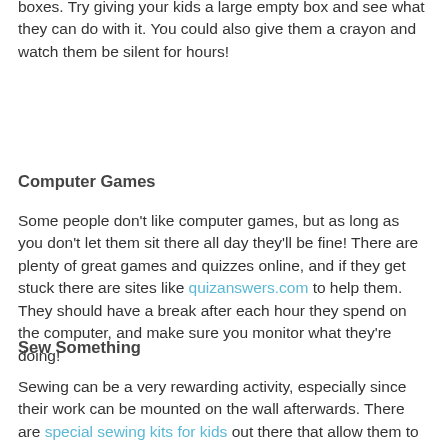boxes. Try giving your kids a large empty box and see what they can do with it. You could also give them a crayon and watch them be silent for hours!
Computer Games
Some people don't like computer games, but as long as you don't let them sit there all day they'll be fine! There are plenty of great games and quizzes online, and if they get stuck there are sites like quizanswers.com to help them. They should have a break after each hour they spend on the computer, and make sure you monitor what they're doing!
Sew Something
Sewing can be a very rewarding activity, especially since their work can be mounted on the wall afterwards. There are special sewing kits for kids out there that allow them to sew their favorite cartoon character, for example. It's also a good skill for them to learn ready for